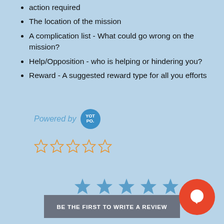action required
The location of the mission
A complication list - What could go wrong on the mission?
Help/Opposition - who is helping or hindering you?
Reward - A suggested reward type for all you efforts
[Figure (logo): Powered by Yotpo badge - blue circle with YOT PO. text]
[Figure (other): Five empty orange star rating icons]
[Figure (other): Five filled blue star icons]
BE THE FIRST TO WRITE A REVIEW
[Figure (other): Orange circular chat button with white speech bubble icon]